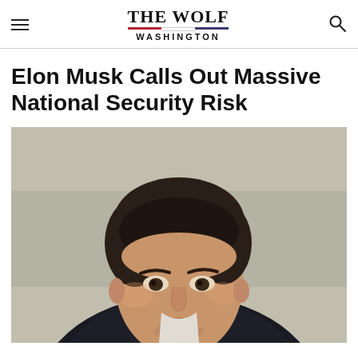THE WOLF WASHINGTON
Elon Musk Calls Out Massive National Security Risk
[Figure (photo): Close-up portrait photograph of Elon Musk in a dark suit with open-collar white shirt, looking slightly off-camera to his left, with an out-of-focus architectural background.]